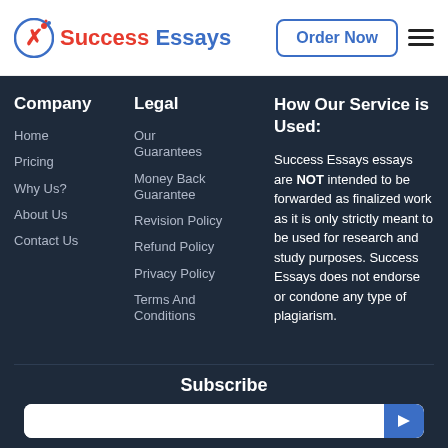Success Essays — Order Now
Company
Home
Pricing
Why Us?
About Us
Contact Us
Legal
Our Guarantees
Money Back Guarantee
Revision Policy
Refund Policy
Privacy Policy
Terms And Conditions
How Our Service is Used:
Success Essays essays are NOT intended to be forwarded as finalized work as it is only strictly meant to be used for research and study purposes. Success Essays does not endorse or condone any type of plagiarism.
Subscribe